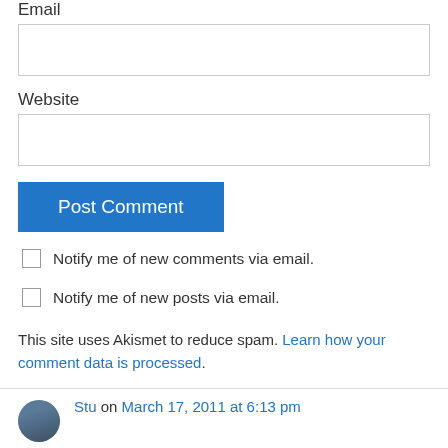Email
Website
Post Comment
Notify me of new comments via email.
Notify me of new posts via email.
This site uses Akismet to reduce spam. Learn how your comment data is processed.
Stu on March 17, 2011 at 6:13 pm